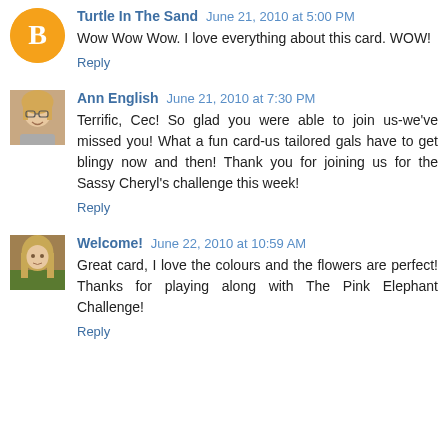[Figure (illustration): Blogger avatar - orange circle with white B logo]
Turtle In The Sand June 21, 2010 at 5:00 PM
Wow Wow Wow. I love everything about this card. WOW!
Reply
[Figure (photo): Profile photo of Ann English - woman with glasses and blonde hair]
Ann English June 21, 2010 at 7:30 PM
Terrific, Cec! So glad you were able to join us-we've missed you! What a fun card-us tailored gals have to get blingy now and then! Thank you for joining us for the Sassy Cheryl's challenge this week!
Reply
[Figure (photo): Profile photo of Welcome user - person with light hair outdoors]
Welcome! June 22, 2010 at 10:59 AM
Great card, I love the colours and the flowers are perfect! Thanks for playing along with The Pink Elephant Challenge!
Reply